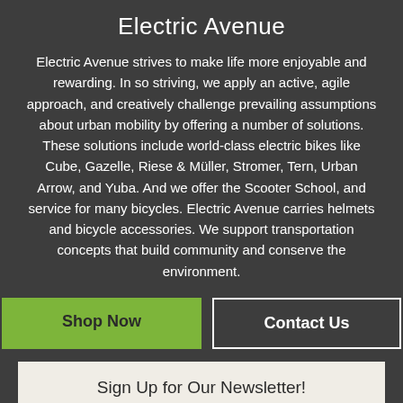Electric Avenue
Electric Avenue strives to make life more enjoyable and rewarding. In so striving, we apply an active, agile approach, and creatively challenge prevailing assumptions about urban mobility by offering a number of solutions. These solutions include world-class electric bikes like Cube, Gazelle, Riese & Müller, Stromer, Tern, Urban Arrow, and Yuba. And we offer the Scooter School, and service for many bicycles. Electric Avenue carries helmets and bicycle accessories. We support transportation concepts that build community and conserve the environment.
[Figure (other): Shop Now button (green) and Contact Us button (outlined white) side by side]
[Figure (other): Sign Up for Our Newsletter! button (light beige background, dark text)]
[Figure (other): Bottom navigation bar with person/user icon, search/magnifying glass icon, and shopping basket icon on a light beige background]